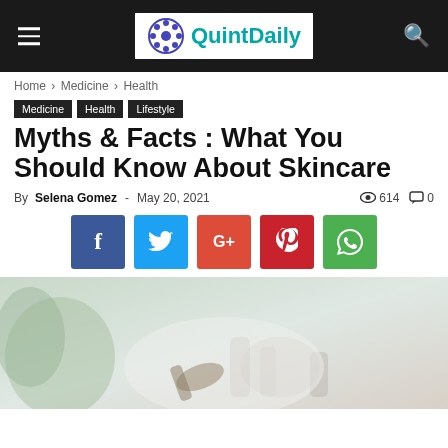QuintDaily
Home › Medicine › Health
Medicine
Health
Lifestyle
Myths & Facts : What You Should Know About Skincare
By Selena Gomez - May 20, 2021  614  0
[Figure (other): Social media share buttons: Facebook, Twitter, Google+, Pinterest, WhatsApp]
[Figure (photo): Blurred skincare/beauty product flatlay image with plants and bottles in soft light]